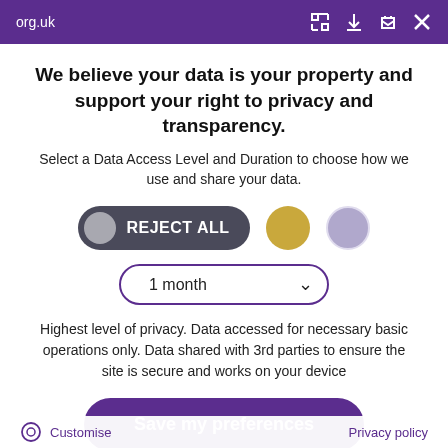org.uk
We believe your data is your property and support your right to privacy and transparency.
Select a Data Access Level and Duration to choose how we use and share your data.
REJECT ALL
1 month
Highest level of privacy. Data accessed for necessary basic operations only. Data shared with 3rd parties to ensure the site is secure and works on your device
Save my preferences
Customise
Privacy policy